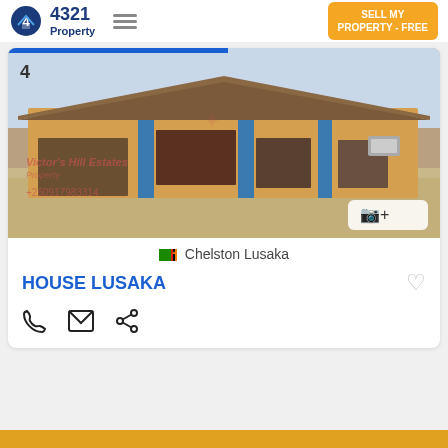4321 Property | SELL MY PROPERTY - FREE
[Figure (photo): Exterior photo of a single-storey house with orange/yellow walls, brown tiled roof, blue pillars, large sliding glass doors, and a hexagonal paver driveway. Watermark reads: Victor's Hill Estates, +260917983314. Photo counter badge shows camera icon and '+'.]
Chelston Lusaka
HOUSE LUSAKA
Phone, Email, Share icons